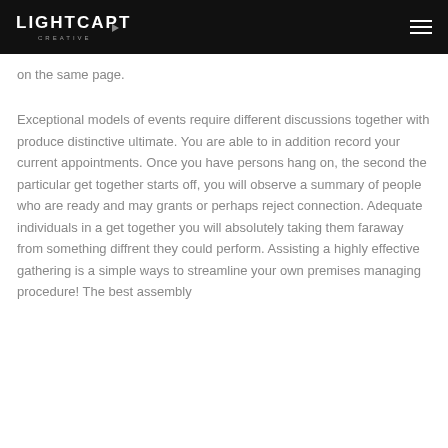LIGHTCAPTURERS CREATIVE
on the same page.
Exceptional models of events require different discussions together with produce distinctive ultimate. You are able to in addition record your current appointments. Once you have persons hang on, the second the particular get together starts off, you will observe a summary of people who are ready and may grants or perhaps reject connection. Adequate individuals in a get together you will absolutely taking them faraway from something diffrent they could perform. Assisting a highly effective gathering is a simple ways to streamline your own premises managing procedure! The best assembly